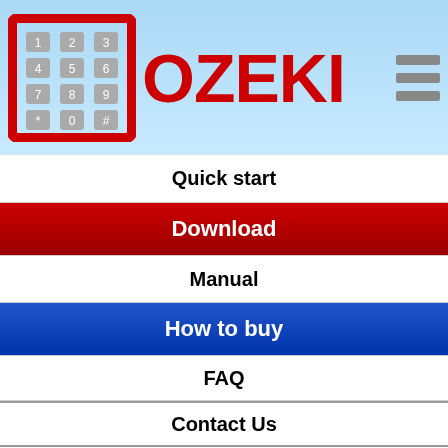[Figure (logo): Ozeki logo with keypad icon and red OZEKI text on light blue gradient background]
Quick start
Download
Manual
How to buy
FAQ
Contact Us
Ozeki NG SMS Gateway
◄ Distributed SMS | Google maps ►
Our site uses cookies, by continuing to browse, you accept our privacy policy.
This page describes how to use the   Ozeki NG SMS...